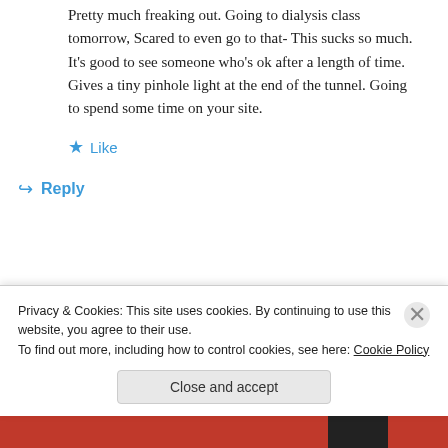Pretty much freaking out. Going to dialysis class tomorrow, Scared to even go to that- This sucks so much. It's good to see someone who's ok after a length of time. Gives a tiny pinhole light at the end of the tunnel. Going to spend some time on your site.
Like
Reply
dialyblog on July 15, 2011 at 11:49 am
Privacy & Cookies: This site uses cookies. By continuing to use this website, you agree to their use.
To find out more, including how to control cookies, see here: Cookie Policy